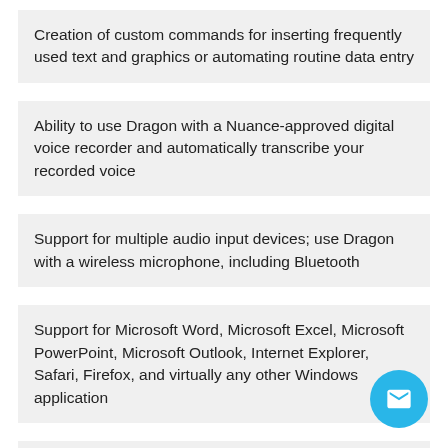Creation of custom commands for inserting frequently used text and graphics or automating routine data entry
Ability to use Dragon with a Nuance-approved digital voice recorder and automatically transcribe your recorded voice
Support for multiple audio input devices; use Dragon with a wireless microphone, including Bluetooth
Support for Microsoft Word, Microsoft Excel, Microsoft PowerPoint, Microsoft Outlook, Internet Explorer, Safari, Firefox, and virtually any other Windows application
Audio playback of your dictation with the associated